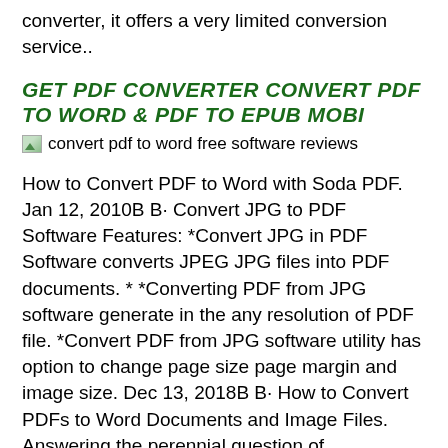converter, it offers a very limited conversion service..
GET PDF CONVERTER CONVERT PDF TO WORD & PDF TO EPUB MOBI
[Figure (illustration): Broken image icon placeholder with alt text: convert pdf to word free software reviews]
How to Convert PDF to Word with Soda PDF. Jan 12, 2010B B· Convert JPG to PDF Software Features: *Convert JPG in PDF Software converts JPEG JPG files into PDF documents. * *Converting PDF from JPG software generate in the any resolution of PDF file. *Convert PDF from JPG software utility has option to change page size page margin and image size. Dec 13, 2018B B· How to Convert PDFs to Word Documents and Image Files. Answering the perennial question of